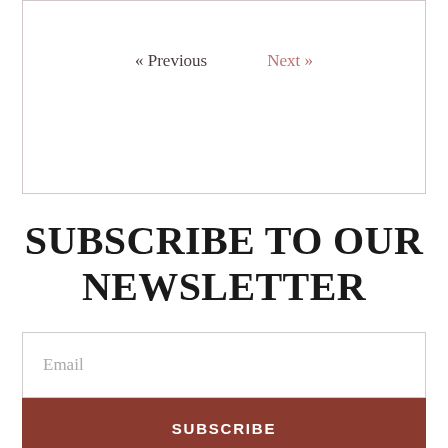« Previous   Next »
SUBSCRIBE TO OUR NEWSLETTER
Email
SUBSCRIBE